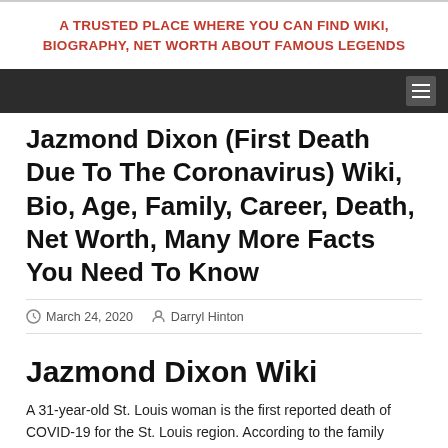A TRUSTED PLACE WHERE YOU CAN FIND WIKI, BIOGRAPHY, NET WORTH ABOUT FAMOUS LEGENDS
Jazmond Dixon (First Death Due To The Coronavirus) Wiki, Bio, Age, Family, Career, Death, Net Worth, Many More Facts You Need To Know
March 24, 2020  Darryl Hinton
Jazmond Dixon Wiki
A 31-year-old St. Louis woman is the first reported death of COVID-19 for the St. Louis region. According to the family...